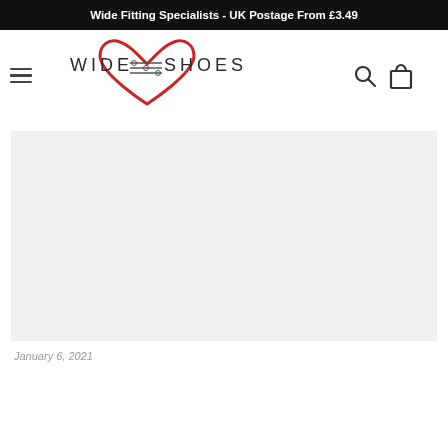Wide Fitting Specialists - UK Postage From £3.49
[Figure (logo): Wide Fit Shoes logo with heart shape and horizontal lines, text WIDE SHOES]
[Figure (photo): Large light grey placeholder image area]
January 6, 2021